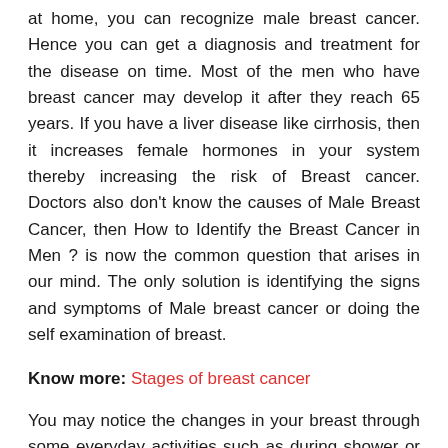at home, you can recognize male breast cancer. Hence you can get a diagnosis and treatment for the disease on time. Most of the men who have breast cancer may develop it after they reach 65 years. If you have a liver disease like cirrhosis, then it increases female hormones in your system thereby increasing the risk of Breast cancer. Doctors also don't know the causes of Male Breast Cancer, then How to Identify the Breast Cancer in Men ? is now the common question that arises in our mind. The only solution is identifying the signs and symptoms of Male breast cancer or doing the self examination of breast.
Know more: Stages of breast cancer
You may notice the changes in your breast through some everyday activities such as during shower or while